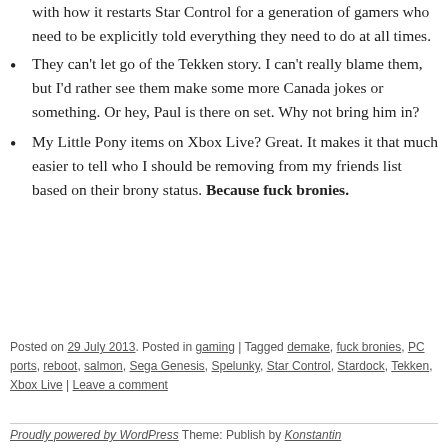with how it restarts Star Control for a generation of gamers who need to be explicitly told everything they need to do at all times.
They can't let go of the Tekken story. I can't really blame them, but I'd rather see them make some more Canada jokes or something. Or hey, Paul is there on set. Why not bring him in?
My Little Pony items on Xbox Live? Great. It makes it that much easier to tell who I should be removing from my friends list based on their brony status. Because fuck bronies.
Posted on 29 July 2013. Posted in gaming | Tagged demake, fuck bronies, PC ports, reboot, salmon, Sega Genesis, Spelunky, Star Control, Stardock, Tekken, Xbox Live | Leave a comment
Proudly powered by WordPress Theme: Publish by Konstantin